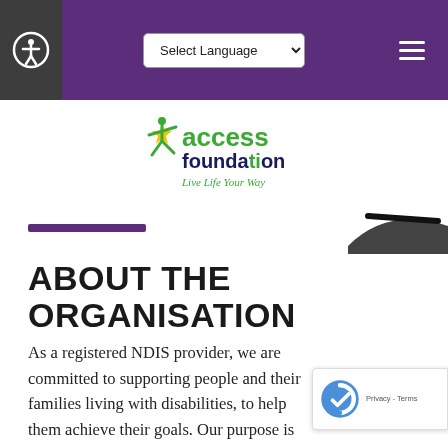Access Foundation — website header with accessibility icon, Select Language dropdown, and hamburger menu
[Figure (logo): Access Foundation logo: green figure jumping with star, green and dark text reading 'access foundation', italic tagline 'Live Life Your Way']
ABOUT THE ORGANISATION
As a registered NDIS provider, we are committed to supporting people and their families living with disabilities, to help them achieve their goals. Our purpose is to help our participants to thrive and